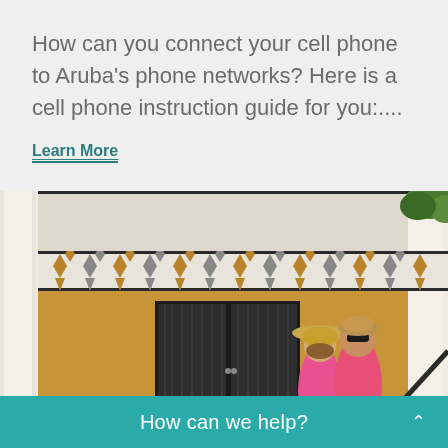How can you connect your cell phone to Aruba's phone networks? Here is a cell phone instruction guide for you:…
Learn More
[Figure (photo): A couple standing in front of a colonial-style building in Aruba with a golden/mustard colored facade, decorative white railing with diamond and arrow patterns, and black double doors. The woman wears a pink outfit and a straw hat, the man wears a pink polo shirt and sunglasses.]
How can we help?